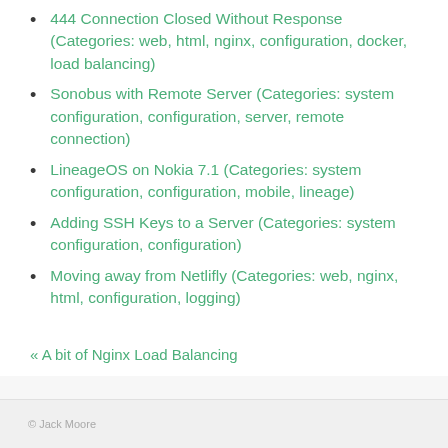444 Connection Closed Without Response (Categories: web, html, nginx, configuration, docker, load balancing)
Sonobus with Remote Server (Categories: system configuration, configuration, server, remote connection)
LineageOS on Nokia 7.1 (Categories: system configuration, configuration, mobile, lineage)
Adding SSH Keys to a Server (Categories: system configuration, configuration)
Moving away from Netlifly (Categories: web, nginx, html, configuration, logging)
« A bit of Nginx Load Balancing
© Jack Moore